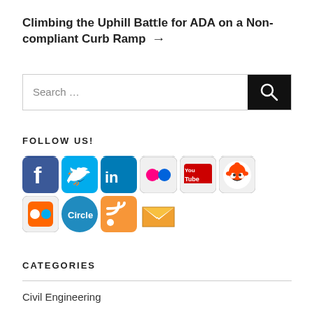Climbing the Uphill Battle for ADA on a Non-compliant Curb Ramp →
[Figure (screenshot): Search bar with text 'Search …' and a black search button with a magnifying glass icon]
FOLLOW US!
[Figure (infographic): Row of social media icons: Facebook, Twitter, LinkedIn, Flickr, YouTube, Reddit, Flickr (orange), Google+ Circle, RSS feed, and an email/envelope icon below]
CATEGORIES
Civil Engineering